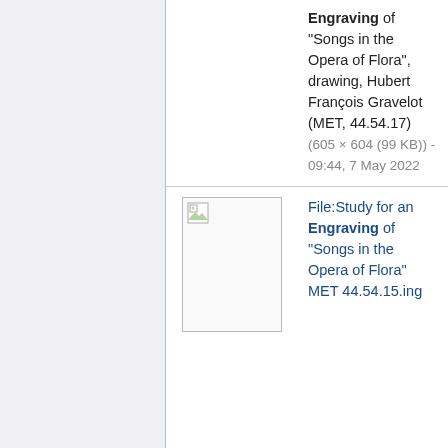Engraving of "Songs in the Opera of Flora", drawing, Hubert François Gravelot (MET, 44.54.17) (605 × 604 (99 KB)) - 09:44, 7 May 2022
[Figure (photo): Broken image placeholder thumbnail (white rectangle with broken image icon)]
File:Study for an Engraving of "Songs in the Opera of Flora" MET 44.54.15.jpg